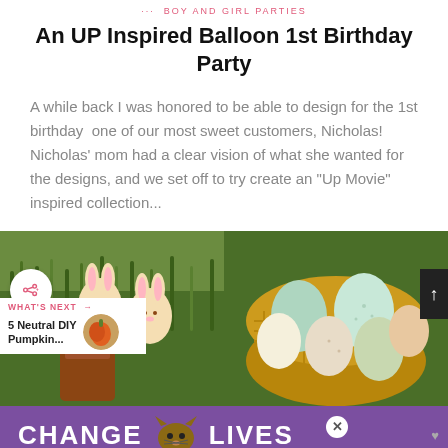BOY AND GIRL PARTIES
An UP Inspired Balloon 1st Birthday Party
A while back I was honored to be able to design for the 1st birthday  one of our most sweet customers, Nicholas! Nicholas' mom had a clear vision of what she wanted for the designs, and we set off to try create an "Up Movie" inspired collection...
[Figure (photo): Two side-by-side photos: left shows Easter bunny cookies in grass with a chocolate jar; right shows colorful Easter eggs in a wicker basket on grass.]
[Figure (infographic): Advertisement banner reading CHANGE LIVES with a cat image, purple background, and close button.]